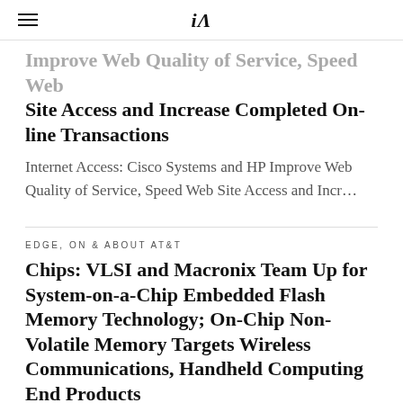iA
Improve Web Quality of Service, Speed Web Site Access and Increase Completed On-line Transactions
Internet Access: Cisco Systems and HP Improve Web Quality of Service, Speed Web Site Access and Incr…
EDGE, ON & ABOUT AT&T
Chips: VLSI and Macronix Team Up for System-on-a-Chip Embedded Flash Memory Technology; On-Chip Non-Volatile Memory Targets Wireless Communications, Handheld Computing End Products
Chips: VLSI and Macronix Team Up for System-on-a-